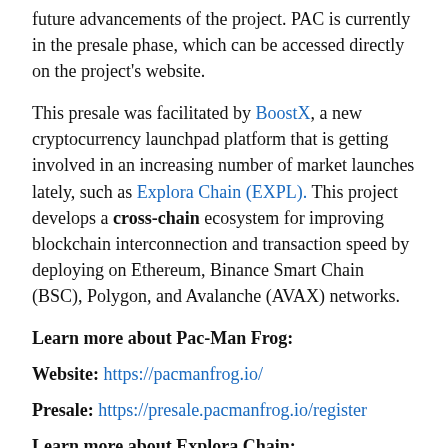future advancements of the project. PAC is currently in the presale phase, which can be accessed directly on the project's website.
This presale was facilitated by BoostX, a new cryptocurrency launchpad platform that is getting involved in an increasing number of market launches lately, such as Explora Chain (EXPL). This project develops a cross-chain ecosystem for improving blockchain interconnection and transaction speed by deploying on Ethereum, Binance Smart Chain (BSC), Polygon, and Avalanche (AVAX) networks.
Learn more about Pac-Man Frog:
Website: https://pacmanfrog.io/
Presale: https://presale.pacmanfrog.io/register
Learn more about Explora Chain: